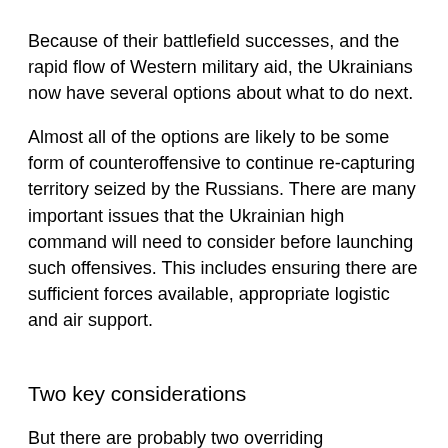Because of their battlefield successes, and the rapid flow of Western military aid, the Ukrainians now have several options about what to do next.
Almost all of the options are likely to be some form of counteroffensive to continue re-capturing territory seized by the Russians. There are many important issues that the Ukrainian high command will need to consider before launching such offensives. This includes ensuring there are sufficient forces available, appropriate logistic and air support.
Two key considerations
But there are probably two overriding considerations. The first of these is timing.
The Ukrainians timed their counter attacks north of Kyiv, and their offensive around Kharkiv, just